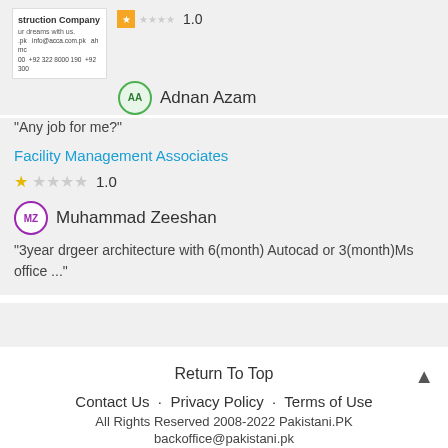[Figure (screenshot): Partial company logo/card for a construction company showing name, tagline, contact info]
1.0 (star rating)
Adnan Azam
"Any job for me?"
Facility Management Associates
1.0 (star rating)
Muhammad Zeeshan
"3year drgeer architecture with 6(month) Autocad or 3(month)Ms office ..."
Return To Top
Contact Us · Privacy Policy · Terms of Use
All Rights Reserved 2008-2022 Pakistani.PK
backoffice@pakistani.pk